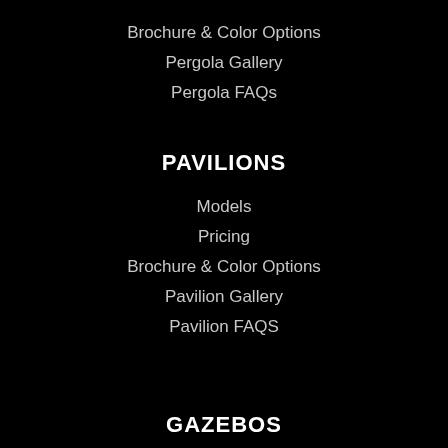Brochure & Color Options
Pergola Gallery
Pergola FAQs
PAVILIONS
Models
Pricing
Brochure & Color Options
Pavilion Gallery
Pavilion FAQS
GAZEBOS